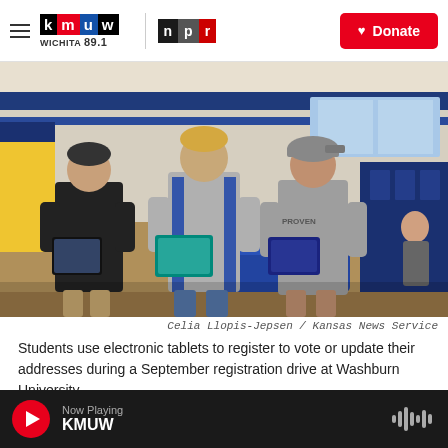KMUW WICHITA 89.1 | NPR — Donate
[Figure (photo): Three male students standing in a school hallway looking down at electronic tablets in their hands. Interior has blue and white decor. Students are wearing casual clothes — black t-shirt, gray vest, gray cap.]
Celia Llopis-Jepsen / Kansas News Service
Students use electronic tablets to register to vote or update their addresses during a September registration drive at Washburn University.
Now Playing KMUW